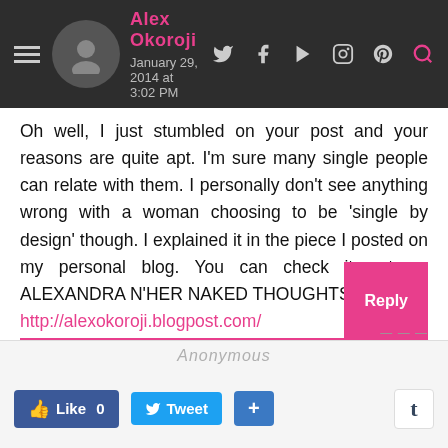Alex Okoroji — January 29, 2014 at 3:02 PM
Oh well, I just stumbled on your post and your reasons are quite apt. I'm sure many single people can relate with them. I personally don't see anything wrong with a woman choosing to be 'single by design' though. I explained it in the piece I posted on my personal blog. You can check it out on ALEXANDRA N'HER NAKED THOUGHTS! http://alexokoroji.blogpost.com/
Cheers!
Anonymous — Like 0  Tweet  +  t